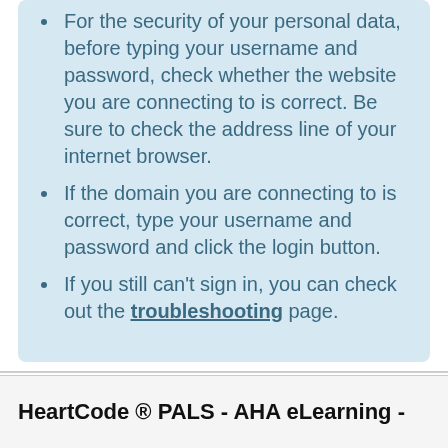For the security of your personal data, before typing your username and password, check whether the website you are connecting to is correct. Be sure to check the address line of your internet browser.
If the domain you are connecting to is correct, type your username and password and click the login button.
If you still can’t sign in, you can check out the troubleshooting page.
HeartCode ® PALS - AHA eLearning -